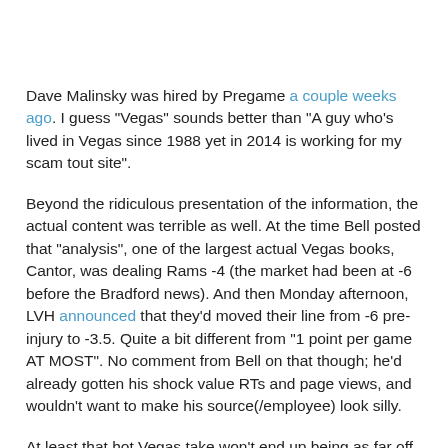Dave Malinsky was hired by Pregame a couple weeks ago. I guess "Vegas" sounds better than "A guy who's lived in Vegas since 1988 yet in 2014 is working for my scam tout site".
Beyond the ridiculous presentation of the information, the actual content was terrible as well. At the time Bell posted that "analysis", one of the largest actual Vegas books, Cantor, was dealing Rams -4 (the market had been at -6 before the Bradford news). And then Monday afternoon, LVH announced that they'd moved their line from -6 pre-injury to -3.5. Quite a bit different from "1 point per game AT MOST". No comment from Bell on that though; he'd already gotten his shock value RTs and page views, and wouldn't want to make his source(/employee) look silly.
At least that hot Vegas take won't end up being as far off as this one from last December: